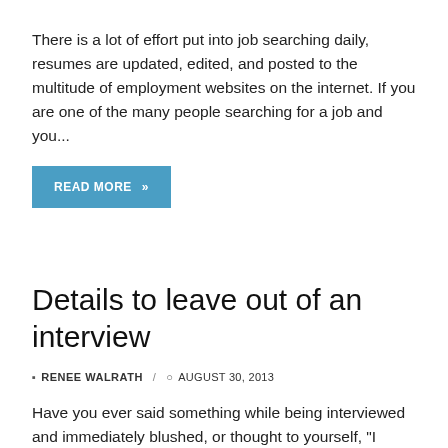There is a lot of effort put into job searching daily, resumes are updated, edited, and posted to the multitude of employment websites on the internet. If you are one of the many people searching for a job and you...
READ MORE »
Details to leave out of an interview
RENEE WALRATH / AUGUST 30, 2013
Have you ever said something while being interviewed and immediately blushed, or thought to yourself, "I probably shouldn't have said that just